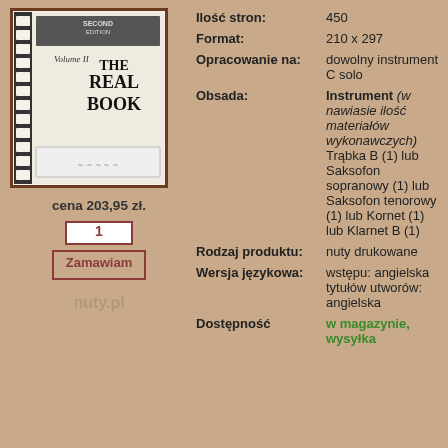[Figure (illustration): Cover of 'The Real Book Volume II Second Edition' music book, shown in a bordered frame.]
cena 203,95 zł.
1
Zamawiam
nuty.pl
| Ilość stron: | 450 |
| Format: | 210 x 297 |
| Opracowanie na: | dowolny instrument C solo |
| Obsada: | Instrument (w nawiasie ilość materiałów wykonawczych) Trąbka B (1) lub Saksofon sopranowy (1) lub Saksofon tenorowy (1) lub Kornet (1) lub Klarnet B (1) |
| Rodzaj produktu: | nuty drukowane |
| Wersja językowa: | wstępu: angielska tytułów utworów: angielska |
| Dostępność | w magazynie, wysyłka |